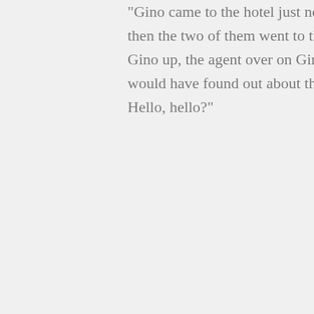“Gino came to the hotel just now, President Lu wouldn’t let him come up, and then the two of them went to the hotel gym. It seems like President Lu beat Gino up, the agent over on Gino’s side is now rushing over. Tang Feng, you would have found out about this matter sooner or later, but you must not … Hello, hello?”
Tang Feng had long since hung up the phone, pulled open the hotel room door and ran towards the hotel gym. Even if Gino should be beat up it should be him doing the beating right.
He is now in a very complicated mood. On the one hand, he was angry at Gino’s childish tantrum and impulsive unprofessional behaviour yesterday, on the